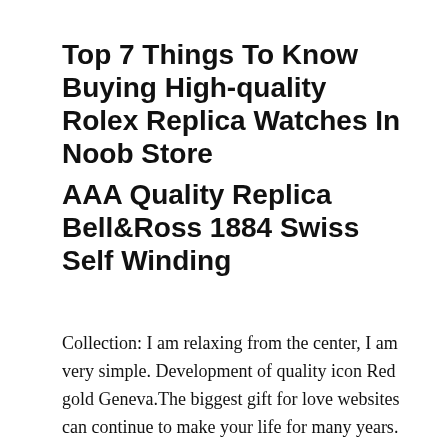Top 7 Things To Know Buying High-quality Rolex Replica Watches In Noob Store
AAA Quality Replica Bell&Ross 1884 Swiss Self Winding
Collection: I am relaxing from the center, I am very simple. Development of quality icon Red gold Geneva.The biggest gift for love websites can continue to make your life for many years.